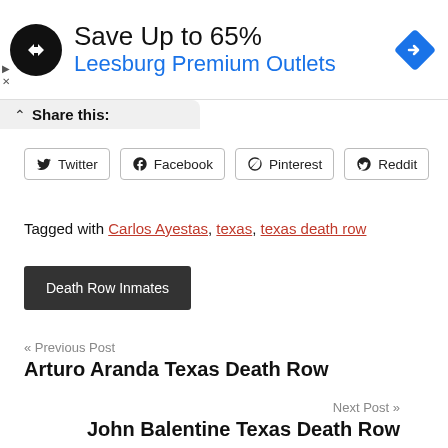[Figure (screenshot): Advertisement banner: black circular logo with double arrows, 'Save Up to 65%' in dark text, 'Leesburg Premium Outlets' in blue text, blue diamond navigation arrow icon on right. Ad markers (triangle play and X) on left side.]
Share this:
Twitter
Facebook
Pinterest
Reddit
Tagged with Carlos Ayestas, texas, texas death row
Death Row Inmates
« Previous Post
Arturo Aranda Texas Death Row
Next Post »
John Balentine Texas Death Row